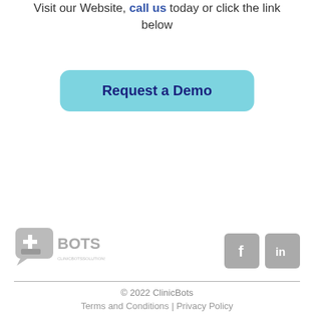Visit our Website, call us today or click the link below
[Figure (other): Light blue rounded button with bold dark blue text 'Request a Demo']
[Figure (logo): ClinicBots logo with chat bubble and cross icon, and social media icons for Facebook and LinkedIn]
© 2022 ClinicBots
Terms and Conditions | Privacy Policy